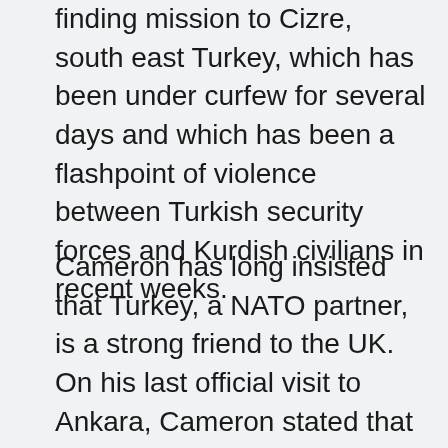finding mission to Cizre, south east Turkey, which has been under curfew for several days and which has been a flashpoint of violence between Turkish security forces and Kurdish civilians in recent weeks.
Cameron has long insisted that Turkey, a NATO partner, is a strong friend to the UK. On his last official visit to Ankara, Cameron stated that Britain and Turkey would work “hand-in-glove” to combat ISIS. And yet he has turned away as the Turkish government used their apparent entry into the anti-ISIS coalition as a veil to break the ceasefire with the Kurdistan Workers’ Party (PKK) and